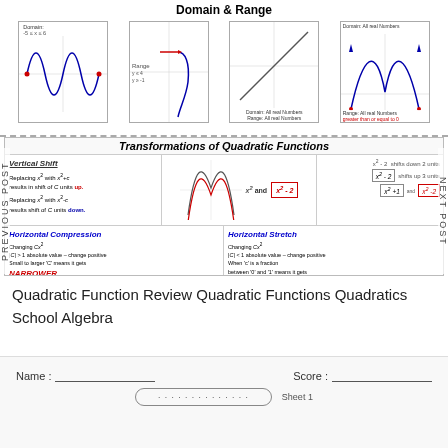Domain & Range
[Figure (illustration): Four coordinate plane graphs illustrating domain and range concepts, including a sine-like curve, a vertical line/arrow graph, a linear function, and a parabola opening upward. Each has labels indicating domain and range.]
Transformations of Quadratic Functions
[Figure (illustration): Vertical Shift section: explains replacing x^2 with x^2+c shifts up C units, replacing with x^2-c shifts down C units. Shows parabola graphs for x^2, x^2-2 with labels. Right side shows x^2-2 shifts down 2 units, x^2-2 shifts up 3 units with x^2+1 and x^2-2 labeled.]
[Figure (illustration): Horizontal Compression section and Horizontal Stretch section with parabola graphs and explanations. Narrower and Wider labels in red.]
PREVIOUS POST
NEXT POST
Quadratic Function Review Quadratic Functions Quadratics School Algebra
| Name: | Score: | Sheet 1 |
| --- | --- | --- |